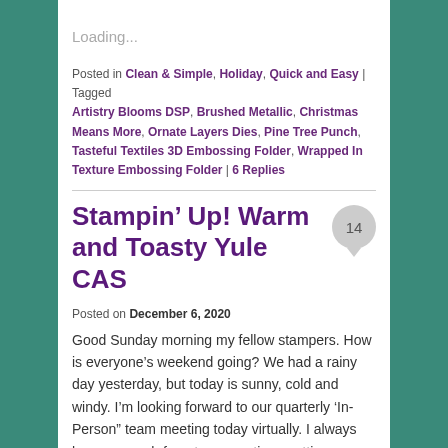Loading...
Posted in Clean & Simple, Holiday, Quick and Easy | Tagged Artistry Blooms DSP, Brushed Metallic, Christmas Means More, Ornate Layers Dies, Pine Tree Punch, Tasteful Textiles 3D Embossing Folder, Wrapped In Texture Embossing Folder | 6 Replies
Stampin’ Up! Warm and Toasty Yule CAS
Posted on December 6, 2020
Good Sunday morning my fellow stampers. How is everyone’s weekend going? We had a rainy day yesterday, but today is sunny, cold and windy. I’m looking forward to our quarterly ‘In-Person” team meeting today virtually. I always have so much fun at our meetings getting together with our team and talking and